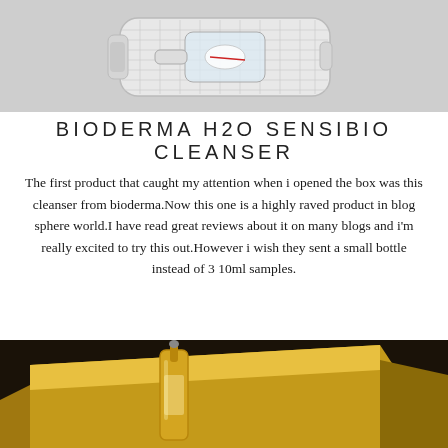[Figure (photo): A small Bioderma H2O Sensibio cleanser sample sachet lying on a light grey background. The sachet is rectangular with a netting texture and contains a small clear bottle with a red label.]
BIODERMA H2O SENSIBIO CLEANSER
The first product that caught my attention when i opened the box was this cleanser from bioderma.Now this one is a highly raved product in blog sphere world.I have read great reviews about it on many blogs and i'm really excited to try this out.However i wish they sent a small bottle instead of 3 10ml samples.
[Figure (photo): A close-up photo of golden luxury skincare product packaging and a gold dropper bottle, with the watermark 'serenesparkle.blogspot.in' in the top right corner.]